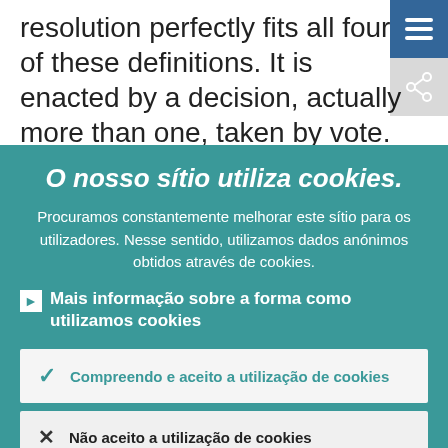resolution perfectly fits all four of these definitions. It is enacted by a decision, actually more than one, taken by vote. It requires a firm mastering of all details, legal
O nosso sítio utiliza cookies.
Procuramos constantemente melhorar este sítio para os utilizadores. Nesse sentido, utilizamos dados anónimos obtidos através de cookies.
Mais informação sobre a forma como utilizamos cookies
Compreendo e aceito a utilização de cookies
Não aceito a utilização de cookies